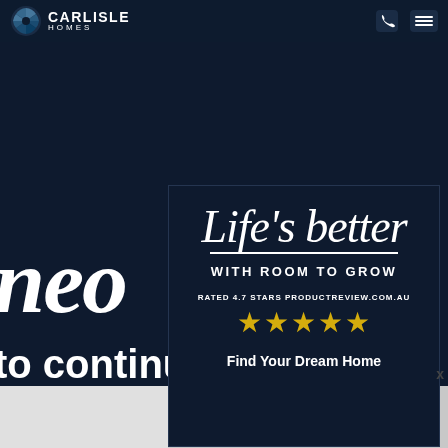[Figure (screenshot): Carlisle Homes website navigation bar with logo (spiral/fan icon, CARLISLE HOMES text), phone icon and hamburger menu on dark navy background]
neo
[Figure (infographic): Popup advertisement overlay card with dark navy background. Contains script text 'Life's better', subtitle 'WITH ROOM TO GROW', rating 'RATED 4.7 STARS PRODUCTREVIEW.COM.AU', four gold stars, and CTA 'Find Your Dream Home']
to continue
high number of errors from your connection. To continue
uman (and not a
X